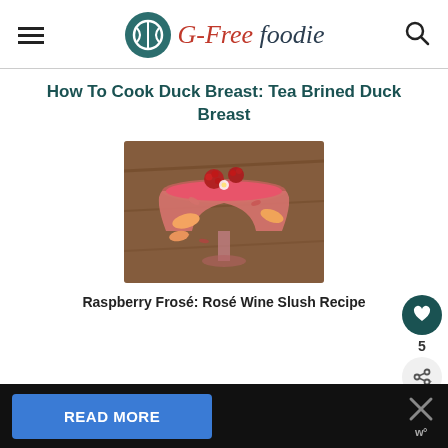G-Free Foodie
How To Cook Duck Breast: Tea Brined Duck Breast
[Figure (photo): Overhead close-up of a raspberry rosé slush drink in a margarita glass garnished with raspberries, edible flowers, and peach slices on a wooden surface]
Raspberry Frosé: Rosé Wine Slush Recipe
READ MORE